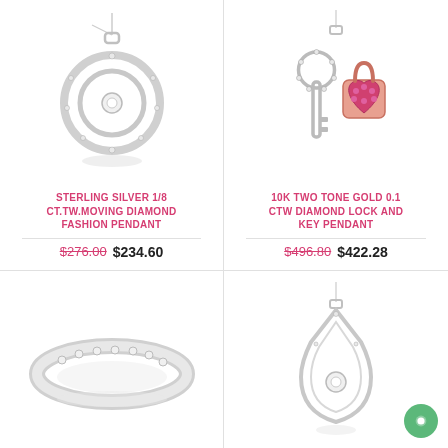[Figure (photo): Sterling silver circular moving diamond fashion pendant on chain]
STERLING SILVER 1/8 CT.TW.MOVING DIAMOND FASHION PENDANT
$276.00  $234.60
[Figure (photo): 10K two tone gold diamond lock and key pendant with pink stones]
10K TWO TONE GOLD 0.1 CTW DIAMOND LOCK AND KEY PENDANT
$496.80  $422.28
[Figure (photo): Sterling silver diamond channel set wedding band ring]
[Figure (photo): Sterling silver teardrop moving diamond fashion pendant on chain]